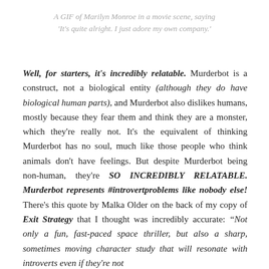A GIF of Marilyn Monroe in a movie scene, saying 'It's quite alright. I just adore my own company.'
Well, for starters, it's incredibly relatable. Murderbot is a construct, not a biological entity (although they do have biological human parts), and Murderbot also dislikes humans, mostly because they fear them and think they are a monster, which they're really not. It's the equivalent of thinking Murderbot has no soul, much like those people who think animals don't have feelings. But despite Murderbot being non-human, they're SO INCREDIBLY RELATABLE. Murderbot represents #introvertproblems like nobody else! There's this quote by Malka Older on the back of my copy of Exit Strategy that I thought was incredibly accurate: "Not only a fun, fast-paced space thriller, but also a sharp, sometimes moving character study that will resonate with introverts even if they're not